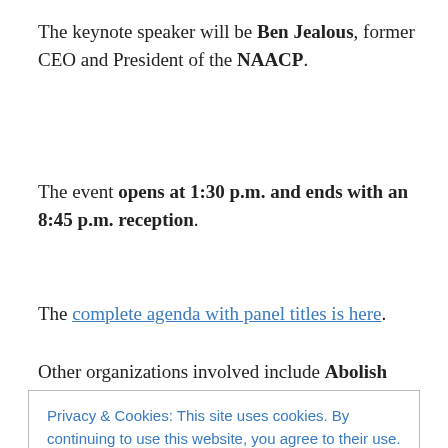The keynote speaker will be Ben Jealous, former CEO and President of the NAACP.
The event opens at 1:30 p.m. and ends with an 8:45 p.m. reception.
The complete agenda with panel titles is here.
Other organizations involved include Abolish Private
Privacy & Cookies: This site uses cookies. By continuing to use this website, you agree to their use. To find out more, including how to control cookies, see here: Cookie Policy
the relationship between private prisons and: